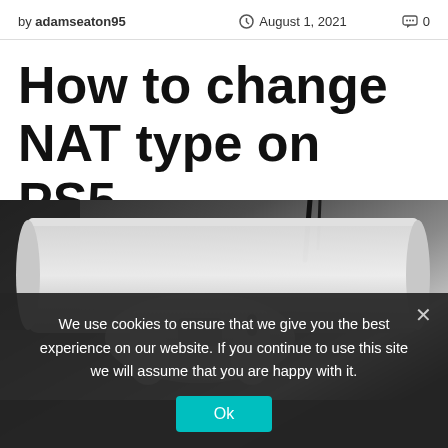by adamseaton95   August 1, 2021   0
How to change NAT type on PS5
[Figure (photo): Photo of a PS5 console and DualSense controller on a dark background]
We use cookies to ensure that we give you the best experience on our website. If you continue to use this site we will assume that you are happy with it.